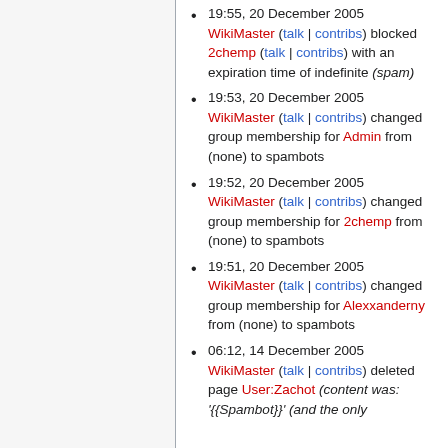19:55, 20 December 2005 WikiMaster (talk | contribs) blocked 2chemp (talk | contribs) with an expiration time of indefinite (spam)
19:53, 20 December 2005 WikiMaster (talk | contribs) changed group membership for Admin from (none) to spambots
19:52, 20 December 2005 WikiMaster (talk | contribs) changed group membership for 2chemp from (none) to spambots
19:51, 20 December 2005 WikiMaster (talk | contribs) changed group membership for Alexxanderny from (none) to spambots
06:12, 14 December 2005 WikiMaster (talk | contribs) deleted page User:Zachot (content was: '{{Spambot}}' (and the only